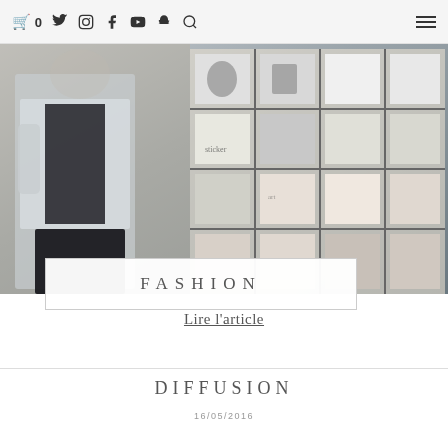0 [cart] [twitter] [instagram] [facebook] [youtube] [snapchat] [search] [menu]
[Figure (photo): Street fashion photo: person wearing light jacket and dark outfit standing in front of a wall with grid artwork/stickers]
FASHION
Lire l'article
DIFFUSION
16/05/2016
[Figure (photo): Bottom portion of a photo, partially visible, appears to show foliage or outdoor scene]